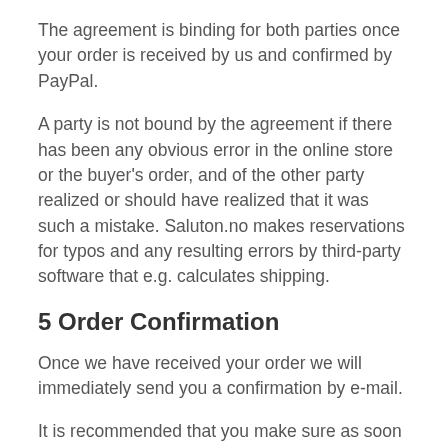The agreement is binding for both parties once your order is received by us and confirmed by PayPal.
A party is not bound by the agreement if there has been any obvious error in the online store or the buyer's order, and of the other party realized or should have realized that it was such a mistake. Saluton.no makes reservations for typos and any resulting errors by third-party software that e.g. calculates shipping.
5 Order Confirmation
Once we have received your order we will immediately send you a confirmation by e-mail.
It is recommended that you make sure as soon as possible that the order confirmation corresponds to the order in terms of quantity, product type, price, etc. If there